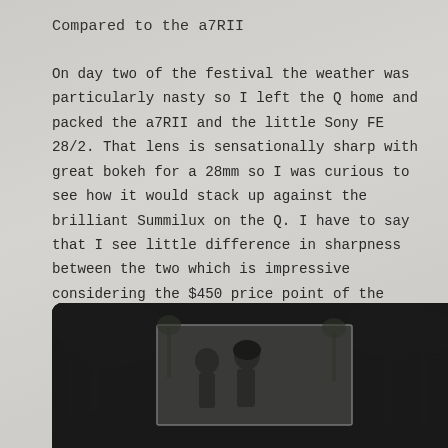Compared to the a7RII
On day two of the festival the weather was particularly nasty so I left the Q home and packed the a7RII and the little Sony FE 28/2. That lens is sensationally sharp with great bokeh for a 28mm so I was curious to see how it would stack up against the brilliant Summilux on the Q. I have to say that I see little difference in sharpness between the two which is impressive considering the $450 price point of the Sony lens. The mix of photos in the slideshow below are from both Q and a7RII, you would have a hard time discerning which camera they came from. Go ahead try...
[Figure (photo): A dark-framed slideshow viewer showing black and white photos: tree silhouettes in the background and an inset photo of two people (band members) outdoors among trees.]